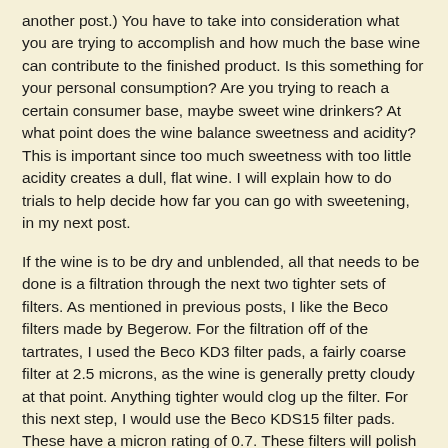another post.) You have to take into consideration what you are trying to accomplish and how much the base wine can contribute to the finished product. Is this something for your personal consumption? Are you trying to reach a certain consumer base, maybe sweet wine drinkers? At what point does the wine balance sweetness and acidity? This is important since too much sweetness with too little acidity creates a dull, flat wine. I will explain how to do trials to help decide how far you can go with sweetening, in my next post.
If the wine is to be dry and unblended, all that needs to be done is a filtration through the next two tighter sets of filters. As mentioned in previous posts, I like the Beco filters made by Begerow. For the filtration off of the tartrates, I used the Beco KD3 filter pads, a fairly coarse filter at 2.5 microns, as the wine is generally pretty cloudy at that point. Anything tighter would clog up the filter. For this next step, I would use the Beco KDS15 filter pads. These have a micron rating of 0.7. These filters will polish up the wine to the next level. The third, and last, pad filtration I do, is with Beco Steril S80 pads, which have a rating of 0.2. I will mention here that I am talking about white wine. I do not use the Beco Steril